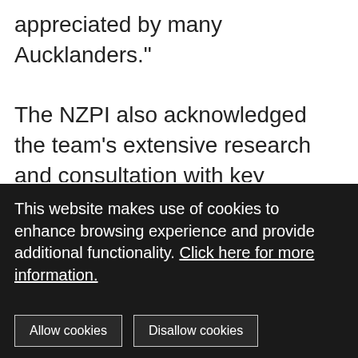appreciated by many Aucklanders."

The NZPI also acknowledged the team's extensive research and consultation with key stakeholders, who were able to influence the design from the early stages of the project to create a solution that...
This website makes use of cookies to enhance browsing experience and provide additional functionality. Click here for more information.
Allow cookies | Disallow cookies